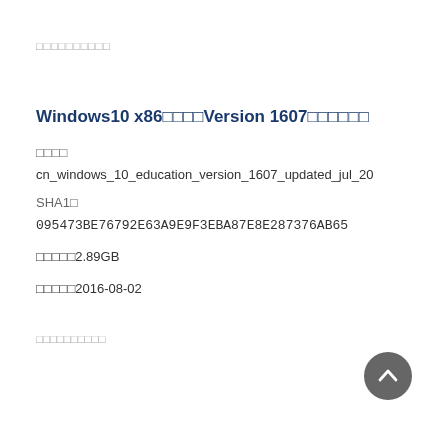Windows10 x86  Version 1607
文件名
cn_windows_10_education_version_1607_updated_jul_20
SHA1值
095473BE76792E63A9E9F3EBA87E8E287376AB65
文件大小：2.89GB
发布时间：2016-08-02